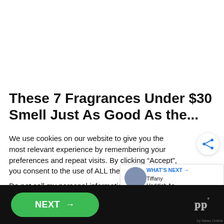These 7 Fragrances Under $30 Smell Just As Good As the...
We use cookies on our website to give you the most relevant experience by remembering your preferences and repeat visits. By clicking “Accept”, you consent to the use of ALL the cookies.
Do not sell my personal information.
Cookie Settings  Accept
WHAT’S NEXT → Tiffany Haddish An...
NEXT →
[Figure (logo): WW logo with superscript degree symbol in gray on black background]